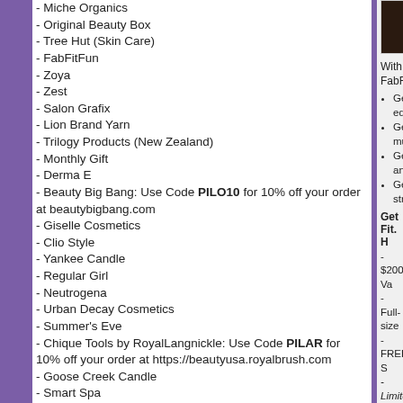- Miche Organics
- Original Beauty Box
- Tree Hut (Skin Care)
- FabFitFun
- Zoya
- Zest
- Salon Grafix
- Lion Brand Yarn
- Trilogy Products (New Zealand)
- Monthly Gift
- Derma E
- Beauty Big Bang: Use Code PILO10 for 10% off your order at beautybigbang.com
- Giselle Cosmetics
- Clio Style
- Yankee Candle
- Regular Girl
- Neutrogena
- Urban Decay Cosmetics
- Summer's Eve
- Chique Tools by RoyalLangnickle: Use Code PILAR for 10% off your order at https://beautyusa.royalbrush.com
- Goose Creek Candle
- Smart Spa
- Qtica
- CVS Beauty
- Stoney Clover Lane
[Figure (photo): Dark background photo, partially visible in top right corner]
With FabF
Get edg
Get mus
Get and
Get str
Get Fit. H
- $200 Va
- Full-size
- FREE S
- Limited O